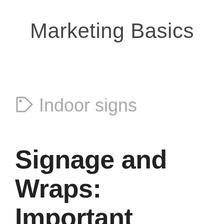Marketing Basics
Indoor signs
Signage and Wraps: Important Marketing Tools for Every Business